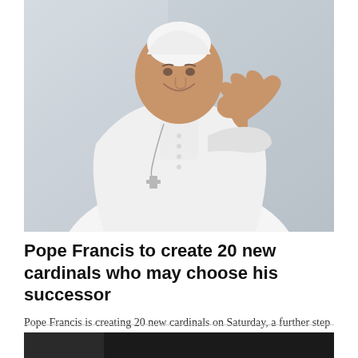[Figure (photo): Pope Francis wearing white papal vestments and white zucchetto, smiling and waving his right hand, photographed outdoors against a light stone/concrete background.]
Pope Francis to create 20 new cardinals who may choose his successor
Pope Francis is creating 20 new cardinals on Saturday, a further step in the preparation of his succession.
[Figure (photo): Dark/black background photo, partially visible at bottom of page.]